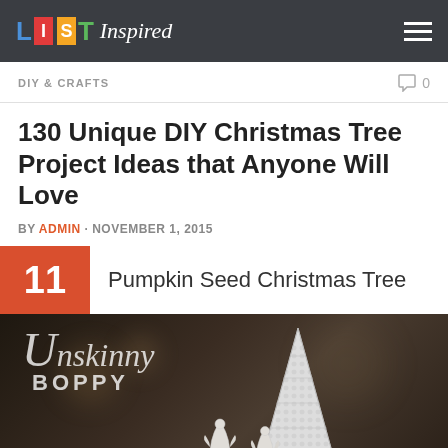LIST Inspired
DIY & CRAFTS
0
130 Unique DIY Christmas Tree Project Ideas that Anyone Will Love
BY ADMIN · NOVEMBER 1, 2015
11  Pumpkin Seed Christmas Tree
[Figure (photo): Dark background photo with 'Unskinny Boppy' watermark text and white cone-shaped decorative Christmas tree figure]